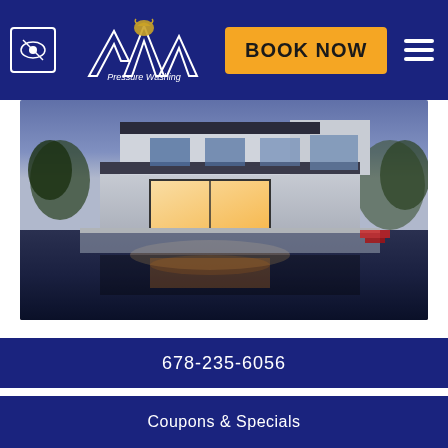[Figure (logo): Alpha Pressure Washing company logo with lion/mountain goat graphic on dark blue header bar, with Book Now button and hamburger menu]
[Figure (photo): Modern luxury house with flat roof, large windows, pool in foreground reflecting the house at dusk/twilight]
Why it is Preferable to Let a Professional Clean Your Stucco Property
678-235-6056
Coupons & Specials